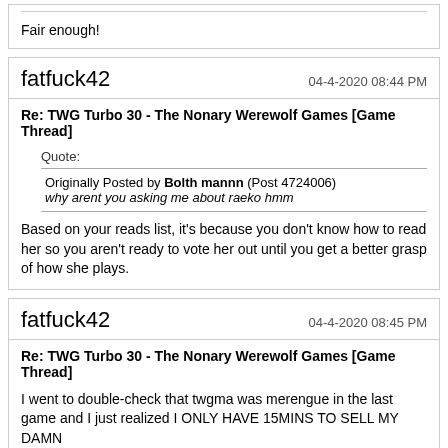Fair enough!
fatfuck42
04-4-2020 08:44 PM
Re: TWG Turbo 30 - The Nonary Werewolf Games [Game Thread]
Quote:
Originally Posted by Bolth mannn (Post 4724006)
why arent you asking me about raeko hmm
Based on your reads list, it's because you don't know how to read her so you aren't ready to vote her out until you get a better grasp of how she plays.
fatfuck42
04-4-2020 08:45 PM
Re: TWG Turbo 30 - The Nonary Werewolf Games [Game Thread]
I went to double-check that twgma was merengue in the last game and I just realized I ONLY HAVE 15MINS TO SELL MY DAMN